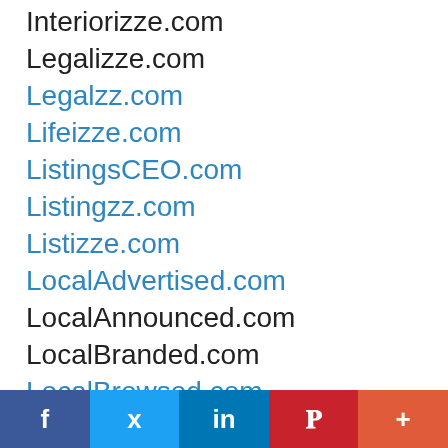Interiorizze.com
Legalizze.com
Legalzz.com
Lifeizze.com
ListingsCEO.com
Listingzz.com
Listizze.com
LocalAdvertised.com
LocalAnnounced.com
LocalBranded.com
LocalBrowsed.com
LocalBundled.com
LocalCategories.com
LocalDisplayed.com
LocalFeatured.com
LocalFollowed.com
LocalInformed.com
[Figure (infographic): Social sharing bar with Facebook, Twitter, LinkedIn, Pinterest, and More buttons]